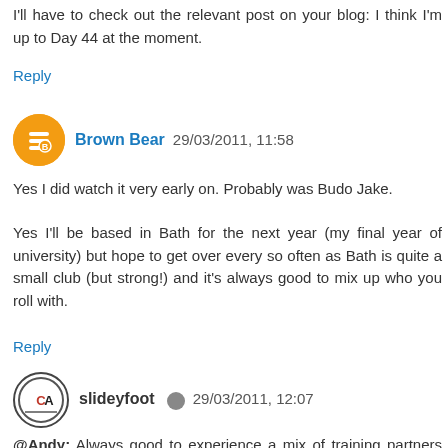I'll have to check out the relevant post on your blog: I think I'm up to Day 44 at the moment.
Reply
Brown Bear  29/03/2011, 11:58
Yes I did watch it very early on. Probably was Budo Jake.
Yes I'll be based in Bath for the next year (my final year of university) but hope to get over every so often as Bath is quite a small club (but strong!) and it's always good to mix up who you roll with.
Reply
slideyfoot  29/03/2011, 12:07
@Andy: Always good to experience a mix of training partners and teaching styles. That's been the best thing about travelling around lots of different clubs over the last few years (though it will be nice to finally settle down